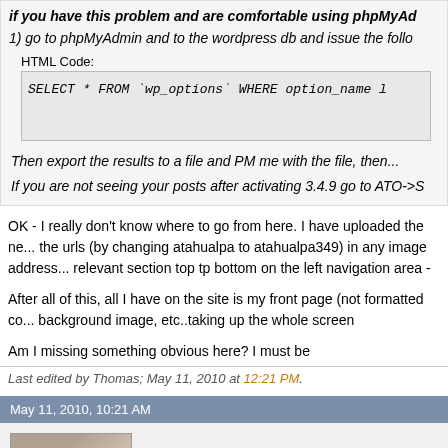if you have this problem and are comfortable using phpMyAd...
1) go to phpMyAdmin and to the wordpress db and issue the follo...
HTML Code:
SELECT * FROM `wp_options` WHERE option_name l...
Then export the results to a file and PM me with the file, then...
If you are not seeing your posts after activating 3.4.9 go to ATO->S...
OK - I really don't know where to go from here. I have uploaded the ne... the urls (by changing atahualpa to atahualpa349) in any image address... relevant section top tp bottom on the left navigation area -
After all of this, all I have on the site is my front page (not formatted co... background image, etc..taking up the whole screen
Am I missing something obvious here? I must be
Last edited by Thomas; May 11, 2010 at 12:21 PM.
May 11, 2010, 10:21 AM
juggledad